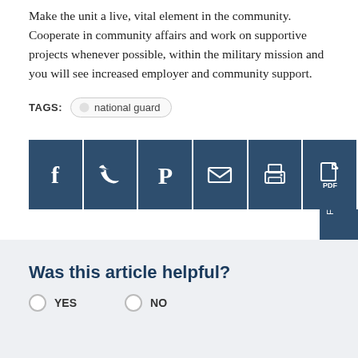Make the unit a live, vital element in the community. Cooperate in community affairs and work on supportive projects whenever possible, within the military mission and you will see increased employer and community support.
TAGS: national guard
[Figure (infographic): Row of six dark blue social sharing buttons: Facebook, Twitter, Pinterest, Email, Print, PDF]
Was this article helpful?
YES   NO